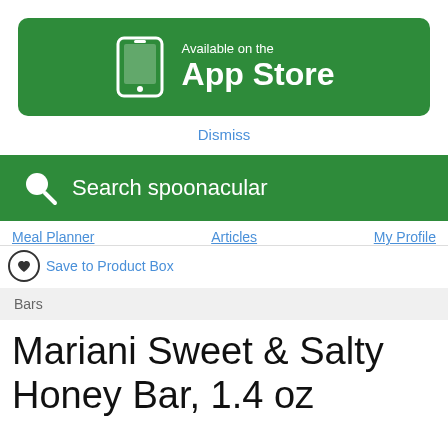[Figure (screenshot): Available on the App Store green banner button with phone icon]
Dismiss
[Figure (screenshot): Search spoonacular green search bar with magnifying glass icon]
Meal Planner   Articles   My Profile
Save to Product Box
Bars
Mariani Sweet & Salty Honey Bar, 1.4 oz